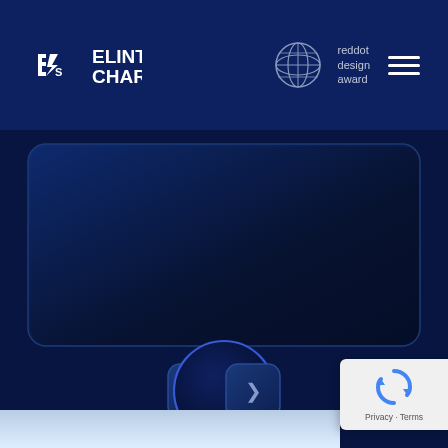[Figure (screenshot): Elinta Charge website screenshot showing dark blue navigation bar with logo, reddot design award badge, hamburger menu, a dark rounded-rectangle device/screen panel, navigation controls (left arrow, center circle, right arrow buttons), reCAPTCHA badge, and a bottom white gradient strip.]